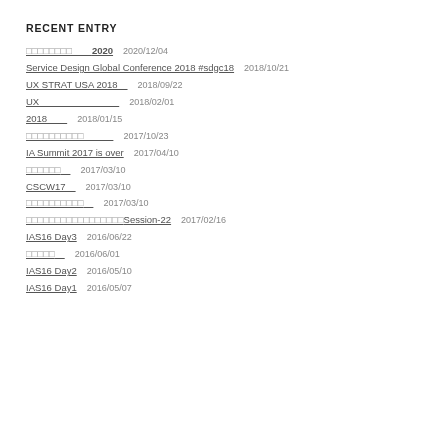RECENT ENTRY
□□□□□□□□　　2020  2020/12/04
Service Design Global Conference 2018 #sdgc18  2018/10/21
UX STRAT USA 2018　  2018/09/22
UX　　　　　　　　  2018/02/01
2018　　  2018/01/15
□□□□□□□□□□　　　  2017/10/23
IA Summit 2017 is over  2017/04/10
□□□□□□  2017/03/10
CSCW17　  2017/03/10
□□□□□□□□□□  2017/03/10
□□□□□□□□□□□□□□□□□Session-22  2017/02/16
IAS16 Day3  2016/06/22
□□□□□  2016/06/01
IAS16 Day2  2016/05/10
IAS16 Day1  2016/05/07